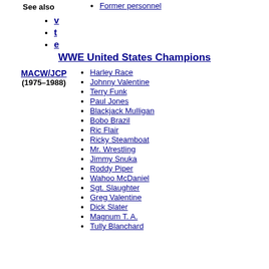See also
Former personnel
v
t
e
WWE United States Champions
Harley Race
Johnny Valentine
Terry Funk
Paul Jones
Blackjack Mulligan
Bobo Brazil
Ric Flair
Ricky Steamboat
Mr. Wrestling
Jimmy Snuka
MACW/JCP (1975–1988)
Roddy Piper
Wahoo McDaniel
Sgt. Slaughter
Greg Valentine
Dick Slater
Magnum T. A.
Tully Blanchard